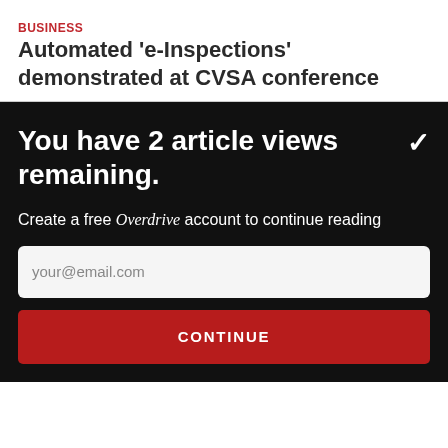BUSINESS
Automated 'e-Inspections' demonstrated at CVSA conference
You have 2 article views remaining.
Create a free Overdrive account to continue reading
your@email.com
CONTINUE